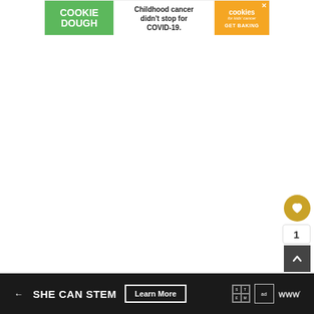[Figure (other): Cookie Dough fundraising banner ad for Cookies for Kids' Cancer. Left green section says COOKIE DOUGH, center white section says Childhood cancer didn't stop for COVID-19., right orange section shows cookies for kids cancer logo and GET BAKING call to action with X close button.]
[Figure (other): White empty content area taking up most of the page]
[Figure (other): Gold circular heart/like button on right side]
1
[Figure (other): Dark gray scroll-to-top button with upward chevron arrow on right side]
[Figure (other): What's Next panel showing: added to label in pink italic, WHAT'S NEXT arrow label, thumbnail images, and title Backlist Love #4: 10 Middl...]
[Figure (other): Bottom advertisement bar: SHE CAN STEM with Learn More button, STEM grid logo, Ad Council logo, and W logo]